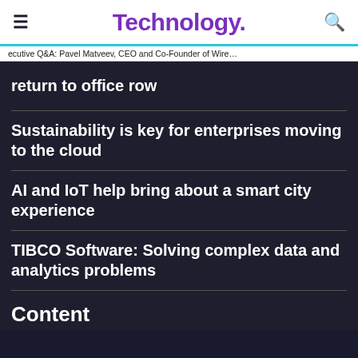Technology.
ecutive Q&A: Pavel Matveev, CEO and Co-Founder of Wire
...return to office row
Sustainability is key for enterprises moving to the cloud
AI and IoT help bring about a smart city experience
TIBCO Software: Solving complex data and analytics problems
Content